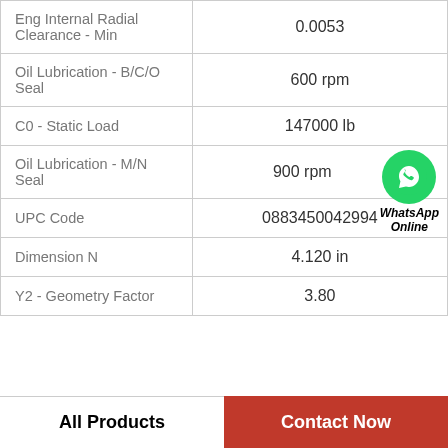| Property | Value |
| --- | --- |
| Eng Internal Radial Clearance - Min | 0.0053 |
| Oil Lubrication - B/C/O Seal | 600 rpm |
| C0 - Static Load | 147000 lb |
| Oil Lubrication - M/N Seal | 900 rpm |
| UPC Code | 0883450042994 |
| Dimension N | 4.120 in |
| Y2 - Geometry Factor | 3.80 |
[Figure (logo): WhatsApp green circle icon with phone handset, labeled 'WhatsApp Online' in bold italic]
All Products | Contact Now